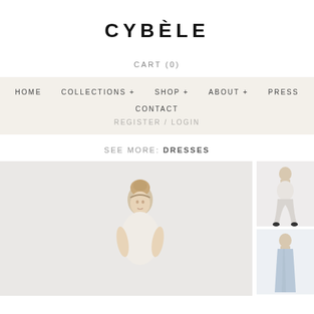CYBÈLE
CART (0)
HOME   COLLECTIONS +   SHOP +   ABOUT +   PRESS   CONTACT   REGISTER / LOGIN
SEE MORE: DRESSES
[Figure (photo): Fashion photo of a young blonde woman with hair in a top bun, wearing light-colored clothing, against a light grey background. Main product image.]
[Figure (photo): Thumbnail of a model wearing light-colored wide-leg pants or culottes, standing against white background.]
[Figure (photo): Thumbnail of a model wearing a light blue long dress, standing against white background.]